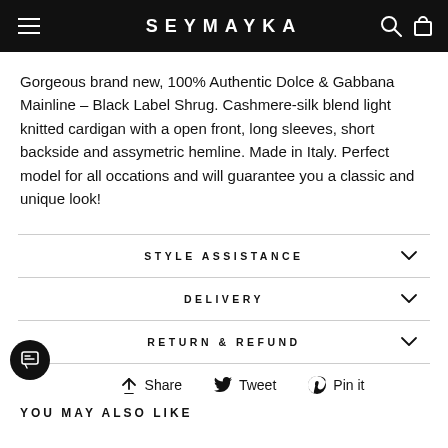SEYMAYKA
Gorgeous brand new, 100% Authentic Dolce & Gabbana Mainline – Black Label Shrug. Cashmere-silk blend light knitted cardigan with a open front, long sleeves, short backside and assymetric hemline. Made in Italy. Perfect model for all occations and will guarantee you a classic and unique look!
STYLE ASSISTANCE
DELIVERY
RETURN & REFUND
Share   Tweet   Pin it
YOU MAY ALSO LIKE